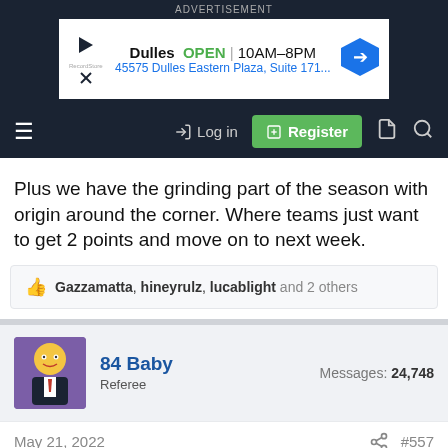[Figure (screenshot): Advertisement banner for a store in Dulles, showing OPEN 10AM–8PM and address 45575 Dulles Eastern Plaza, Suite 171...]
Log in  Register
Plus we have the grinding part of the season with origin around the corner. Where teams just want to get 2 points and move on to next week.
Gazzamatta, hineyrulz, lucablight and 2 others
84 Baby
Referee
Messages: 24,748
May 21, 2022  #557
TheRam said: ↑